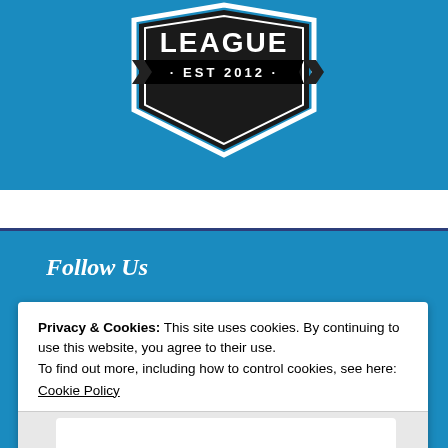[Figure (logo): Shield-shaped logo badge, black with white border and white text 'EST 2012' with decorative banner ribbon on a blue background]
Follow Us
Privacy & Cookies: This site uses cookies. By continuing to use this website, you agree to their use.
To find out more, including how to control cookies, see here:
Cookie Policy
Close and accept